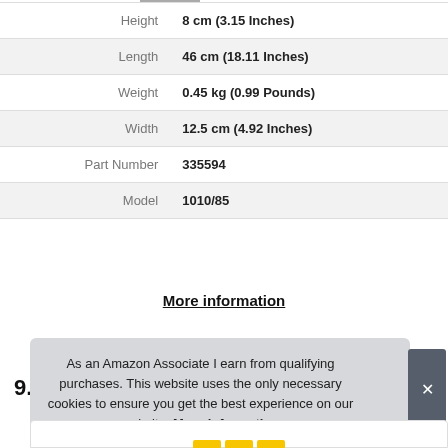| Attribute | Value |
| --- | --- |
| Height | 8 cm (3.15 Inches) |
| Length | 46 cm (18.11 Inches) |
| Weight | 0.45 kg (0.99 Pounds) |
| Width | 12.5 cm (4.92 Inches) |
| Part Number | 335594 |
| Model | 1010/85 |
More information
9.
As an Amazon Associate I earn from qualifying purchases. This website uses the only necessary cookies to ensure you get the best experience on our website. More information